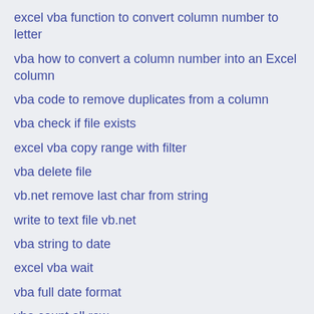excel vba function to convert column number to letter
vba how to convert a column number into an Excel column
vba code to remove duplicates from a column
vba check if file exists
excel vba copy range with filter
vba delete file
vb.net remove last char from string
write to text file vb.net
vba string to date
excel vba wait
vba full date format
vba count all row
vba loop through recordset